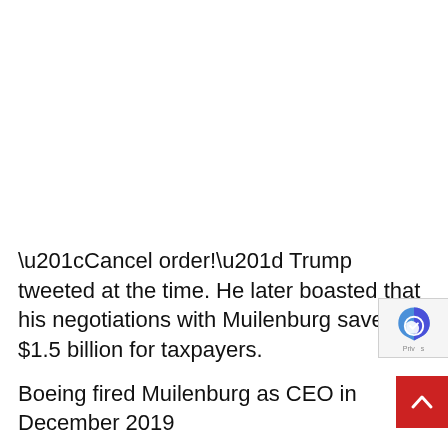“Cancel order!” Trump tweeted at the time. He later boasted that his negotiations with Muilenburg saved $1.5 billion for taxpayers.

Boeing fired Muilenburg as CEO in December 2019